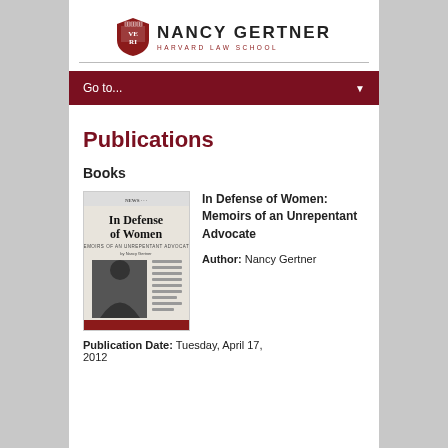Nancy Gertner — Harvard Law School
Go to...
Publications
Books
[Figure (photo): Book cover of 'In Defense of Women: Memoirs of an Unrepentant Advocate' by Nancy Gertner, featuring a black-and-white newspaper-style layout with a photo of the author and a red band at the bottom.]
In Defense of Women: Memoirs of an Unrepentant Advocate
Author: Nancy Gertner
Publication Date: Tuesday, April 17, 2012